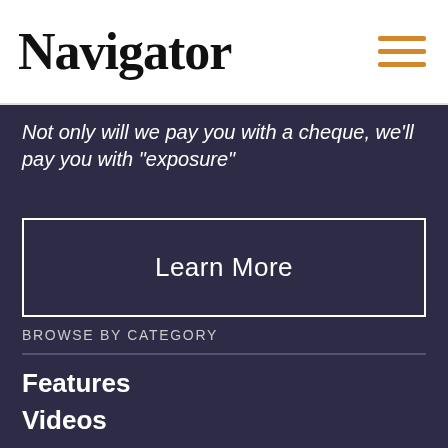Navigator
Not only will we pay you with a cheque, we'll pay you with "exposure"
Learn More
BROWSE BY CATEGORY
Features
Videos